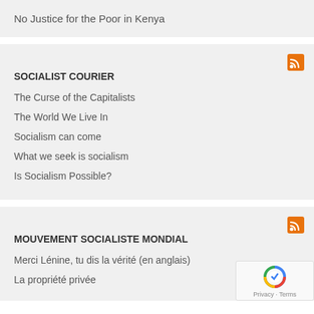No Justice for the Poor in Kenya
SOCIALIST COURIER
The Curse of the Capitalists
The World We Live In
Socialism can come
What we seek is socialism
Is Socialism Possible?
MOUVEMENT SOCIALISTE MONDIAL
Merci Lénine, tu dis la vérité (en anglais)
La propriété privée